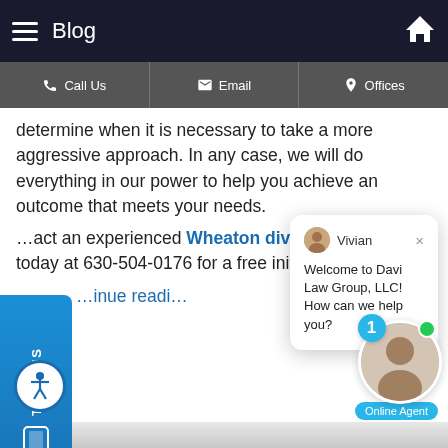Blog
determine when it is necessary to take a more aggressive approach. In any case, we will do everything in our power to help you achieve an outcome that meets your needs. Contact an experienced Wheaton divorce lawyer today at 630-504-0176 for a free initial consultation.
Continue reading
[Figure (screenshot): Chat widget with Vivian agent saying Welcome to Davi Law Group, LLC! How can we help you?]
How Can I Adopt a Related Child in Illinois?
Posted on November 17, 2020 in Adoption